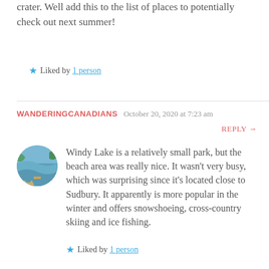crater. Well add this to the list of places to potentially check out next summer!
★ Liked by 1 person
WANDERINGCANADIANS  October 20, 2020 at 7:23 am
REPLY →
[Figure (photo): Circular avatar photo showing a lake scene with a canoe and trees reflected in calm water]
Windy Lake is a relatively small park, but the beach area was really nice. It wasn't very busy, which was surprising since it's located close to Sudbury. It apparently is more popular in the winter and offers snowshoeing, cross-country skiing and ice fishing.
★ Liked by 1 person